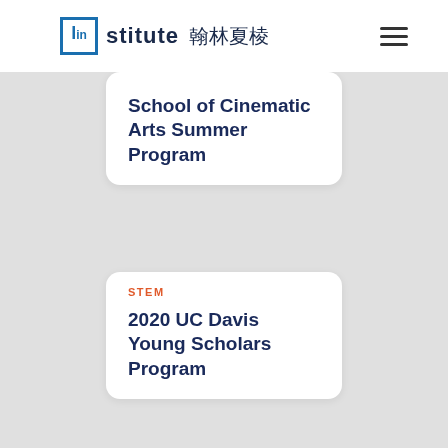lin institute 翰林夏棱
School of Cinematic Arts Summer Program
STEM
2020 UC Davis Young Scholars Program